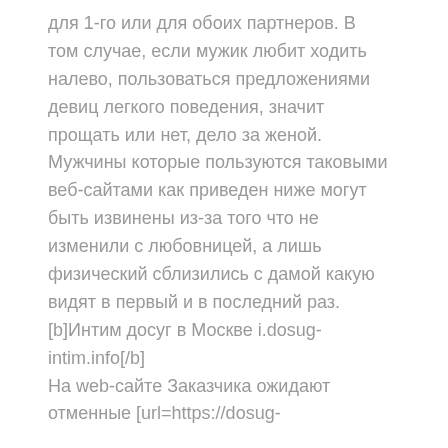для 1-го или для обоих партнеров. В том случае, если мужик любит ходить налево, пользоваться предложениями девиц легкого поведения, значит прощать или нет, дело за женой. Мужчины которые пользуются таковыми веб-сайтами как приведен ниже могут быть извинены из-за того что не изменили с любовницей, а лишь физический сблизились с дамой какую видят в первый и в последний раз.
[b]Интим досуг в Москве i.dosug-intim.info[/b]
На web-сайте Заказчика ожидают отменные [url=https://dosug-